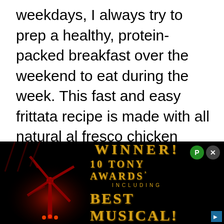weekdays, I always try to prep a healthy, protein-packed breakfast over the weekend to eat during the week. This fast and easy frittata recipe is made with all natural al fresco chicken sausages which are pre-cooked and made with just a few simple ingredients you can pronounce.
[Figure (illustration): Advertisement banner with dark background featuring a red glowing windmill silhouette on the left and golden text reading 'WINNER! 10 TONY AWARDS INCLUDING BEST MUSICAL!' with close and P buttons in the top right corner.]